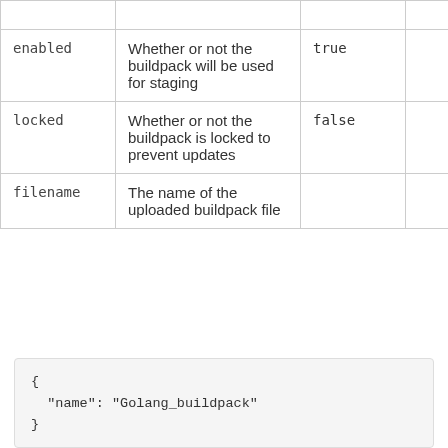|  |  |  |  |  |
| enabled | Whether or not the buildpack will be used for staging | true |  |  |
| locked | Whether or not the buildpack is locked to prevent updates | false |  |  |
| filename | The name of the uploaded buildpack file |  |  |  |
{
  "name": "Golang_buildpack"
}